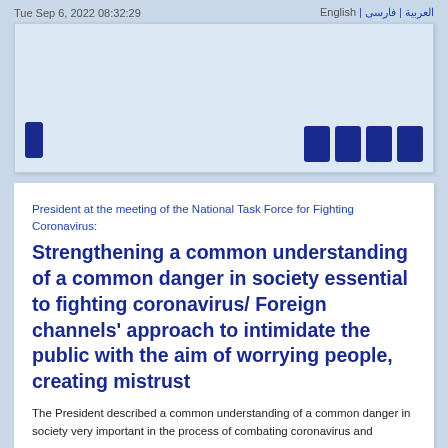Tue Sep 6, 2022 08:32:29    English | فارسی | العربیة
[Figure (other): Light blue banner/advertisement box with dark navy blue rectangular icon on bottom-left and four dark navy blue rectangular icons on bottom-right]
President at the meeting of the National Task Force for Fighting Coronavirus:
Strengthening a common understanding of a common danger in society essential to fighting coronavirus/ Foreign channels' approach to intimidate the public with the aim of worrying people, creating mistrust
The President described a common understanding of a common danger in society very important in the process of combating coronavirus and